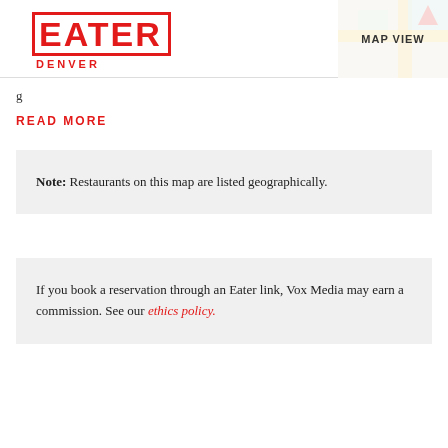EATER DENVER
[Figure (map): MAP VIEW button overlaid on a partial Google Maps thumbnail in the top-right corner]
g
READ MORE
Note: Restaurants on this map are listed geographically.
If you book a reservation through an Eater link, Vox Media may earn a commission. See our ethics policy.